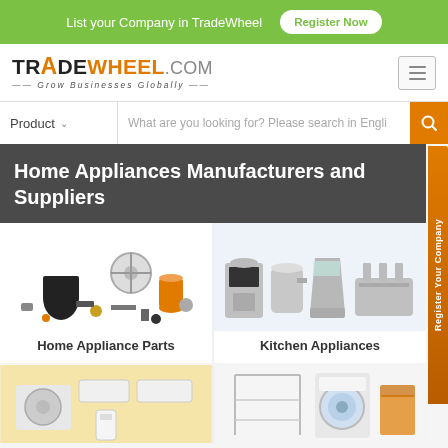List your Company in TradeWheel  Register Now
[Figure (logo): TradeWheel.com logo with tagline Grow Businesses Globally]
Product  What are you looking for? Please search in Engli
Home Appliances Manufacturers and Suppliers
[Figure (photo): Home Appliance Parts - various parts including compressors, fans, gas cylinders]
Home Appliance Parts
[Figure (photo): Kitchen Appliances - coffee maker, kettle, blender, toaster]
Kitchen Appliances
[Figure (photo): Air conditioning units and indoor components on yellow background]
[Figure (photo): Washing machine and laundry items]